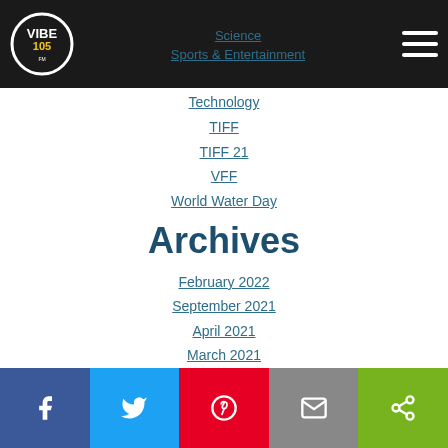Vibe 105 logo and navigation bar
Science
Sports & Entertainment
Technology
TIFF
TIFF 21
VFF
World Water Day
Archives
February 2022
September 2021
April 2021
March 2021
February 2021
January 2021
December 2020
November 2020
August 2020
Social share bar: Facebook, Twitter, Pinterest, Email, Share